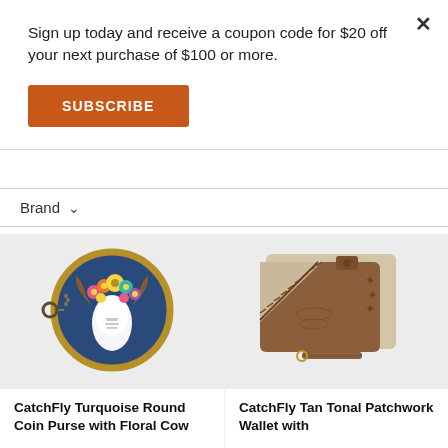Sign up today and receive a coupon code for $20 off your next purchase of $100 or more.
SUBSCRIBE
Brand
[Figure (photo): CatchFly Turquoise Round Coin Purse with Floral Cow design - circular navy blue coin purse with bull skull decorated with flowers and Aztec pattern, with keychain ring]
[Figure (photo): CatchFly Tan Tonal Patchwork Wallet with lace stitching detail in brown leather with beige patchwork panel and wrist strap]
CatchFly Turquoise Round Coin Purse with Floral Cow
CatchFly Tan Tonal Patchwork Wallet with